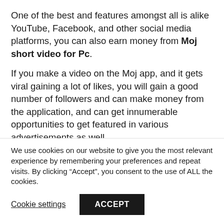One of the best and features amongst all is alike YouTube, Facebook, and other social media platforms, you can also earn money from Moj short video for Pc.
If you make a video on the Moj app, and it gets viral gaining a lot of likes, you will gain a good number of followers and can make money from the application, and can get innumerable opportunities to get featured in various advertisements as well.
We use cookies on our website to give you the most relevant experience by remembering your preferences and repeat visits. By clicking “Accept”, you consent to the use of ALL the cookies.
Cookie settings | ACCEPT